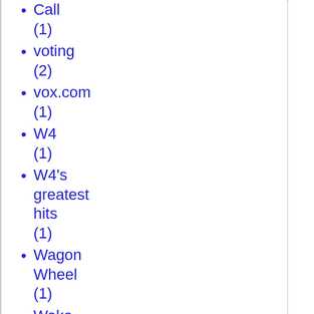Call (1)
voting (2)
vox.com (1)
W4 (1)
W4's greatest hits (1)
Wagon Wheel (1)
Wake Forest (2)
Wal-Mart (1)
Wall Street (6)
Wall